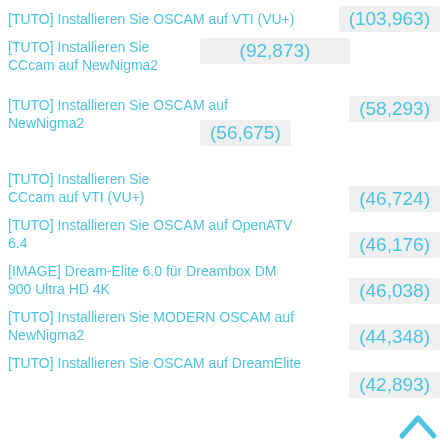[TUTO] Installieren Sie OSCAM auf VTI (VU+)
[TUTO] Installieren Sie CCcam auf NewNigma2
[TUTO] Installieren Sie OSCAM auf NewNigma2
(56,675)
[TUTO] Installieren Sie CCcam auf VTI (VU+)
[TUTO] Installieren Sie OSCAM auf OpenATV 6.4
[IMAGE] Dream-Elite 6.0 für Dreambox DM 900 Ultra HD 4K
[TUTO] Installieren Sie MODERN OSCAM auf NewNigma2
[TUTO] Installieren Sie OSCAM auf DreamElite